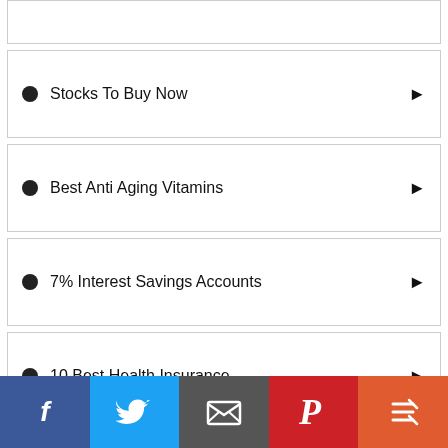Stocks To Buy Now
Best Anti Aging Vitamins
7% Interest Savings Accounts
10 Best Health Insurance
[Figure (infographic): Amazon wedding registry advertisement banner with light blue background and Amazon smile logo]